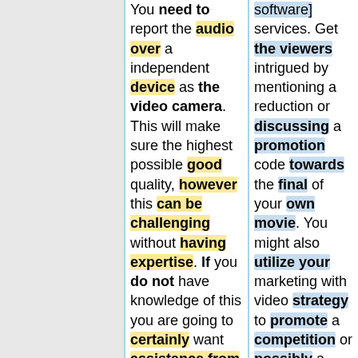You need to report the audio over a independent device as the video camera. This will make sure the highest possible good quality, however this can be challenging without having expertise. If you do not have knowledge of this you are going to certainly want assistance from someone who does.<br><br><br>A telephone call to action is
software] services. Get the viewers intrigued by mentioning a reduction or discussing a promotion code towards the final of your own movie. You might also utilize your marketing with video strategy to promote a competition or possibly a giveaway.<br><br><br>Think about employing someone to